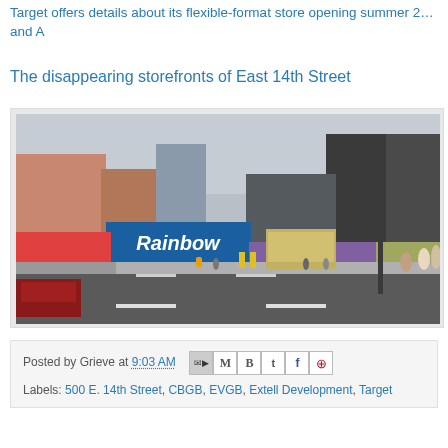Target offers details about its flexible-format store opening summer … and A
The disappearing storefronts of East 14th Street
[Figure (photo): Street-level photo of East 14th Street in New York City showing storefronts including a Rainbow clothing store with a large blue sign, construction barriers along the sidewalk, a food truck, pedestrians, and a car on the left. Buildings and a street lamp are visible.]
Posted by Grieve at 9:03 AM
Labels: 500 E. 14th Street, CBGB, EVGB, Extell Development, Target